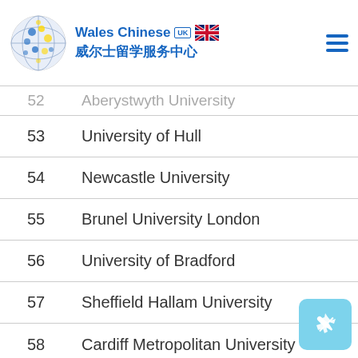Wales Chinese 威尔士留学服务中心 UK
| # | University |
| --- | --- |
| 52 | Aberystwyth University |
| 53 | University of Hull |
| 54 | Newcastle University |
| 55 | Brunel University London |
| 56 | University of Bradford |
| 57 | Sheffield Hallam University |
| 58 | Cardiff Metropolitan University |
| 59 | University of Huddersfield |